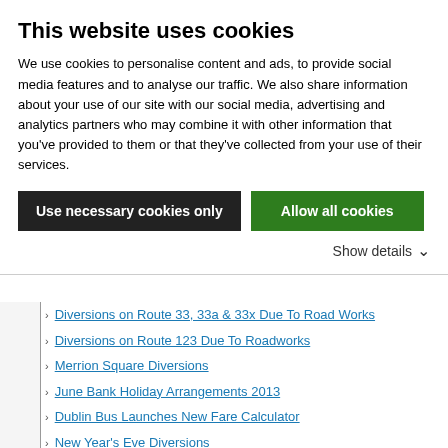This website uses cookies
We use cookies to personalise content and ads, to provide social media features and to analyse our traffic. We also share information about your use of our site with our social media, advertising and analytics partners who may combine it with other information that you've provided to them or that they've collected from your use of their services.
Use necessary cookies only
Allow all cookies
Show details
Diversions on Route 33, 33a & 33x Due To Road Works
Diversions on Route 123 Due To Roadworks
Merrion Square Diversions
June Bank Holiday Arrangements 2013
Dublin Bus Launches New Fare Calculator
New Year's Eve Diversions
Last Departures on New Year's Eve
Last Departures on Christmas Eve